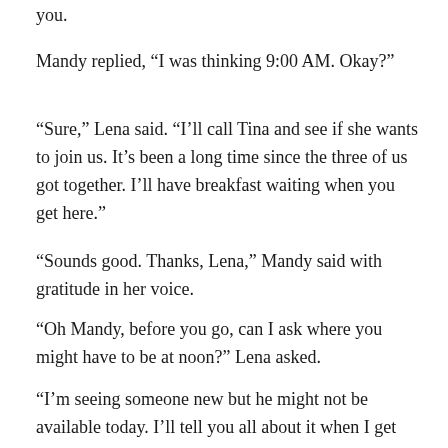you.
Mandy replied, “I was thinking 9:00 AM. Okay?”
“Sure,” Lena said. “I’ll call Tina and see if she wants to join us. It’s been a long time since the three of us got together. I’ll have breakfast waiting when you get here.”
“Sounds good. Thanks, Lena,” Mandy said with gratitude in her voice.
“Oh Mandy, before you go, can I ask where you might have to be at noon?” Lena asked.
“I’m seeing someone new but he might not be available today. I’ll tell you all about it when I get there. I think I’m in love,” Mandy said in a sing-song voice.